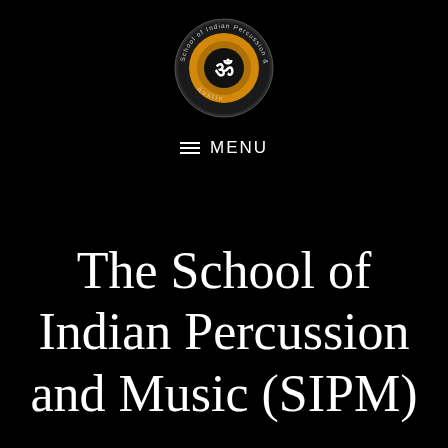[Figure (logo): Circular logo for School of Indian Percussion & Music, Austin. Outer ring with text, inner gold/orange ring, center black circle with Om symbol in white.]
≡ MENU
The School of Indian Percussion and Music (SIPM)